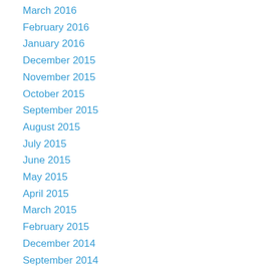March 2016
February 2016
January 2016
December 2015
November 2015
October 2015
September 2015
August 2015
July 2015
June 2015
May 2015
April 2015
March 2015
February 2015
December 2014
September 2014
August 2014
July 2014
May 2014
March 2014